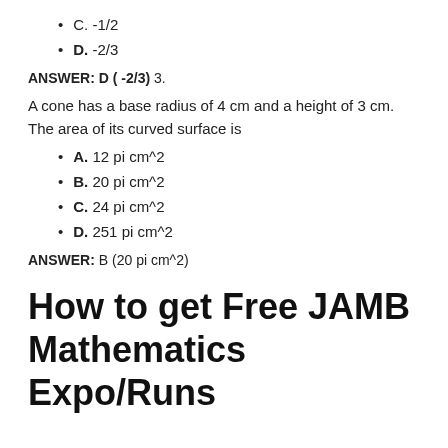C. -1/2
D. -2/3
ANSWER: D ( -2/3) 3.
A cone has a base radius of 4 cm and a height of 3 cm. The area of its curved surface is
A. 12 pi cm^2
B. 20 pi cm^2
C. 24 pi cm^2
D. 251 pi cm^2
ANSWER: B (20 pi cm^2)
How to get Free JAMB Mathematics Expo/Runs